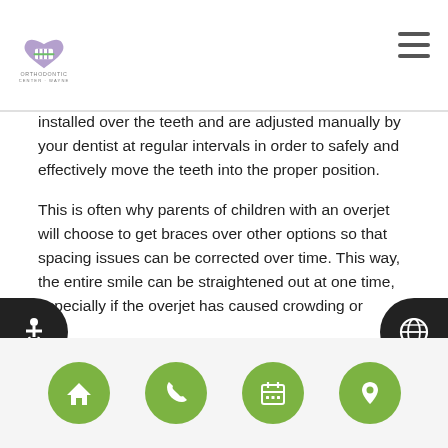Orthodontic Center of Wayne
installed over the teeth and are adjusted manually by your dentist at regular intervals in order to safely and effectively move the teeth into the proper position.
This is often why parents of children with an overjet will choose to get braces over other options so that spacing issues can be corrected over time. This way, the entire smile can be straightened out at one time, especially if the overjet has caused crowding or shifting for the other teeth.
Request an appointment here: https://www.orthodonticswaynenj.com or call The Orthodontic Center Of Wayne - Dr. Sally Song at (973) 302-2072 for an appointment in our Wayne office.
Navigation icons: home, phone, calendar, location